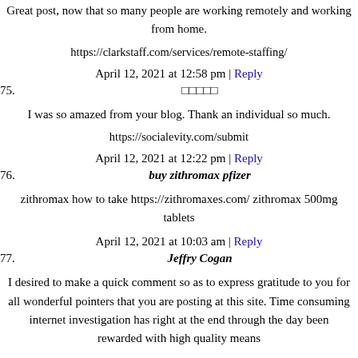Great post, now that so many people are working remotely and working from home.
https://clarkstaff.com/services/remote-staffing/
April 12, 2021 at 12:58 pm | Reply
75.
I was so amazed from your blog. Thank an individual so much.
https://socialevity.com/submit
April 12, 2021 at 12:22 pm | Reply
76. buy zithromax pfizer
zithromax how to take https://zithromaxes.com/ zithromax 500mg tablets
April 12, 2021 at 10:03 am | Reply
77. Jeffry Cogan
I desired to make a quick comment so as to express gratitude to you for all wonderful pointers that you are posting at this site. Time consuming internet investigation has right at the end through the day been rewarded with high quality means to share to your guests. I wish to know that most of you to...